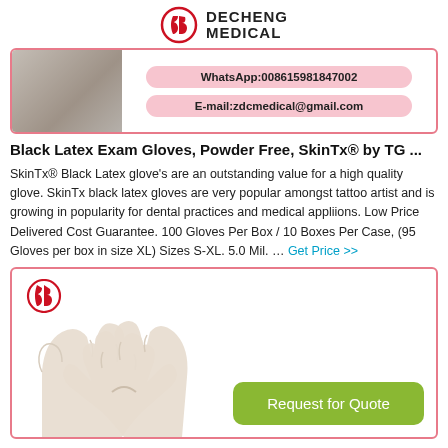[Figure (logo): Decheng Medical logo with red icon and bold text]
[Figure (photo): Top product card with gray surface material photo on left and contact info (WhatsApp and E-mail) on right, pink border]
Black Latex Exam Gloves, Powder Free, SkinTx® by TG ...
SkinTx® Black Latex glove's are an outstanding value for a high quality glove. SkinTx black latex gloves are very popular amongst tattoo artist and is growing in popularity for dental practices and medical appliions. Low Price Delivered Cost Guarantee. 100 Gloves Per Box / 10 Boxes Per Case, (95 Gloves per box in size XL) Sizes S-XL. 5.0 Mil. … Get Price >>
[Figure (photo): Bottom card with pink border showing two latex gloved hands pressed together, Decheng Medical logo top left, green Request for Quote button bottom right]